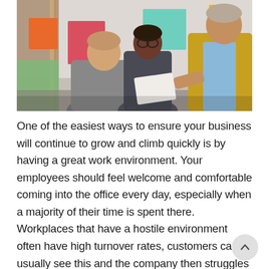[Figure (photo): Three people in a modern office looking at a document together. Colorful sticky notes (red, pink, teal, yellow, green) are visible in the background on boards. One person wears a yellow cardigan, one a grey blazer, and one a grey patterned top.]
One of the easiest ways to ensure your business will continue to grow and climb quickly is by having a great work environment. Your employees should feel welcome and comfortable coming into the office every day, especially when a majority of their time is spent there. Workplaces that have a hostile environment often have high turnover rates, customers can usually see this and the company then struggles to grow. Sometimes workplace issues can be solved with one simple solution and one you may not expect either: document management software